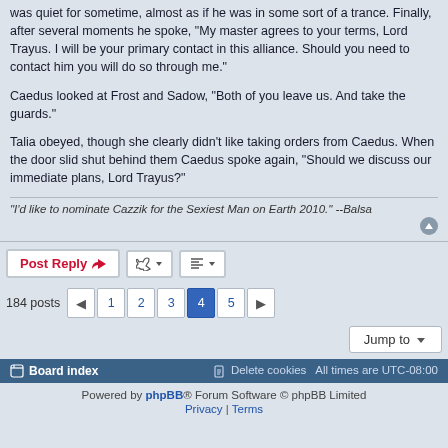was quiet for sometime, almost as if he was in some sort of a trance. Finally, after several moments he spoke, "My master agrees to your terms, Lord Trayus. I will be your primary contact in this alliance. Should you need to contact him you will do so through me."
Caedus looked at Frost and Sadow, "Both of you leave us. And take the guards."
Talia obeyed, though she clearly didn't like taking orders from Caedus. When the door slid shut behind them Caedus spoke again, "Should we discuss our immediate plans, Lord Trayus?"
"I'd like to nominate Cazzik for the Sexiest Man on Earth 2010." --Balsa
Post Reply | Tools | Sorting | 184 posts | 1 | 2 | 3 | 4 | 5 | Jump to
Board index | Delete cookies | All times are UTC-08:00
Powered by phpBB® Forum Software © phpBB Limited | Privacy | Terms